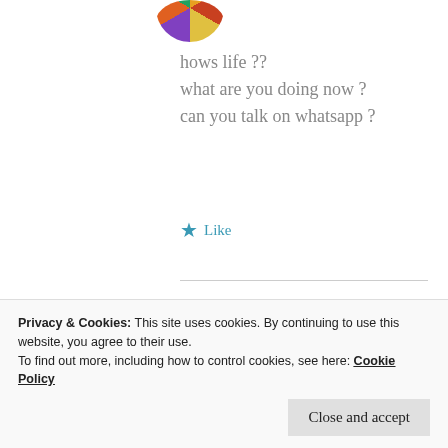[Figure (photo): Partial circular avatar at top with colorful pattern, cut off at top edge]
hows life ??
what are you doing now ?
can you talk on whatsapp ?
★ Like
[Figure (photo): Circular avatar of a person with dark reddish-brown tones, appears to be a woman with dark hair]
ZEALOUS HOMO SAPIENS
30 Apr 2019 at 11:10 pm
Privacy & Cookies: This site uses cookies. By continuing to use this website, you agree to their use.
To find out more, including how to control cookies, see here: Cookie Policy
Close and accept